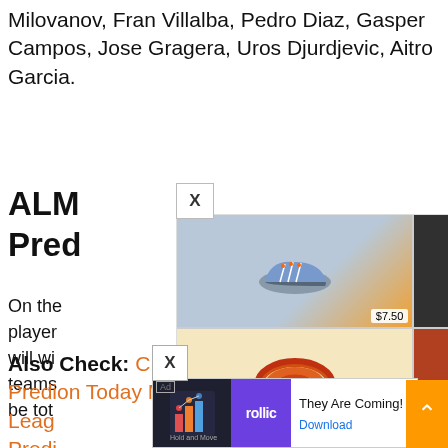Milovanov, Fran Villalba, Pedro Diaz, Gasper Campos, Jose Gragera, Uros Djurdjevic, Aitro Garcia.
ALM... Pred...
On the ... player ... will wi... teams ... be tot...
[Figure (screenshot): Advertisement overlay from Made-in-China.com showing 6 product images (shoe $7.50, motor part $88, motorcycle $900, orange rope $0.10, container $700, excavator $0.10) with logo and site name]
Also Check: CRY vs LU Dream11 Football Prediction on Today Match – English Premier League ... Predi...
[Figure (screenshot): Bottom advertisement for 'rollic' app showing 'They Are Coming!' with Download button]
[Figure (screenshot): Right side video thumbnail showing a cricket match, Aug-2022]